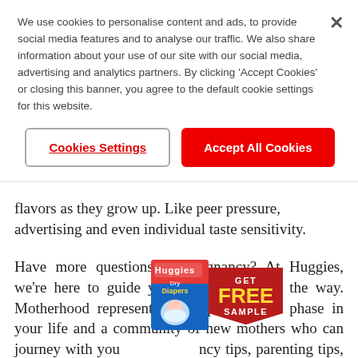We use cookies to personalise content and ads, to provide social media features and to analyse our traffic. We also share information about your use of our site with our social media, advertising and analytics partners. By clicking 'Accept Cookies' or closing this banner, you agree to the default cookie settings for this website.
Cookies Settings
Accept All Cookies
flavors as they grow up. Like peer pressure, advertising and even individual taste sensitivity.
Have more questions on pregnancy? At Huggies, we're here to guide you at every step of the way. Motherhood represents a completely new phase in your life and a community of new mothers who can journey with you [...]ancy tips, parenting tips, free d[...]sive diaper offers shared on th[...] can ensure you are best prepared for your new born child to a...
[Figure (infographic): Huggies Diapers product box image with a 'GET FREE SAMPLE' red badge overlay]